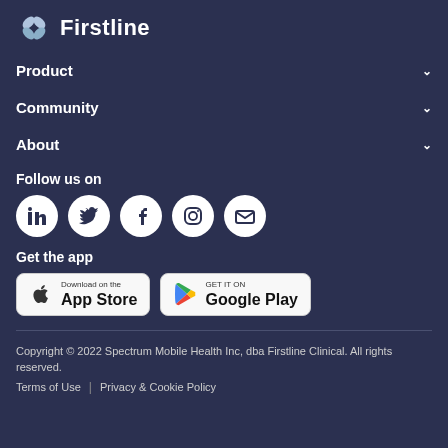Firstline
Product
Community
About
Follow us on
[Figure (illustration): Social media icons: LinkedIn, Twitter, Facebook, Instagram, Email]
Get the app
[Figure (illustration): App store buttons: Download on the App Store, GET IT ON Google Play]
Copyright © 2022 Spectrum Mobile Health Inc, dba Firstline Clinical. All rights reserved. Terms of Use | Privacy & Cookie Policy